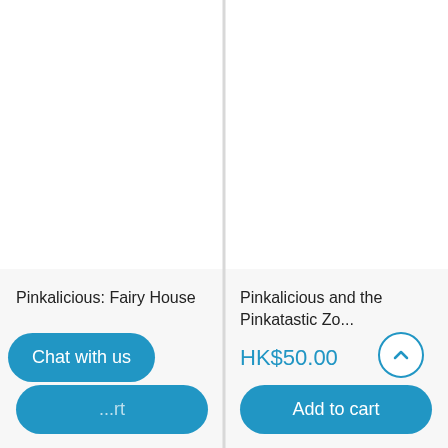[Figure (screenshot): Product card image area (blank/white) for Pinkalicious: Fairy House]
Pinkalicious: Fairy House
HK$50.00
...rt
Chat with us
[Figure (screenshot): Product card image area (blank/white) for Pinkalicious and the Pinkatastic Zo...]
Pinkalicious and the Pinkatastic Zo...
HK$50.00
Add to cart